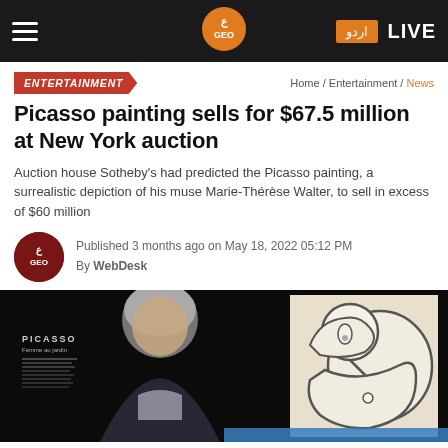Geo.tv — اردو | LIVE
ENTERTAINMENT
Home / Entertainment / News
Picasso painting sells for $67.5 million at New York auction
Auction house Sotheby's had predicted the Picasso painting, a surrealistic depiction of his muse Marie-Thérèse Walter, to sell in excess of $60 million
Published 3 months ago on May 18, 2022 05:12 PM
By WebDesk
[Figure (photo): Man with grey hair in front of a Picasso exhibition sign, with a Picasso artwork visible on the right]